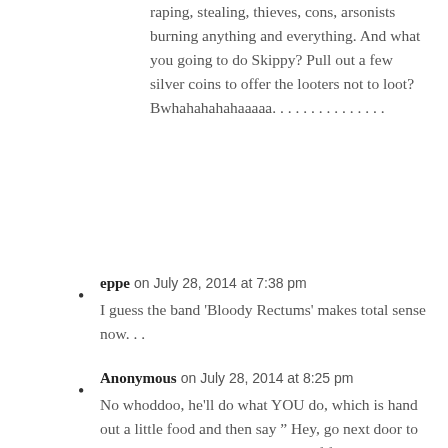raping, stealing, thieves, cons, arsonists burning anything and everything. And what you going to do Skippy? Pull out a few silver coins to offer the looters not to loot? Bwhahahahahaaaaa. . . . . . . . . . . . . . .
eppe on July 28, 2014 at 7:38 pm — I guess the band 'Bloody Rectums' makes total sense now. . .
Anonymous on July 28, 2014 at 8:25 pm — No whoddoo, he'll do what YOU do, which is hand out a little food and then say " Hey, go next door to my neighbors house, he's got lots of food!"